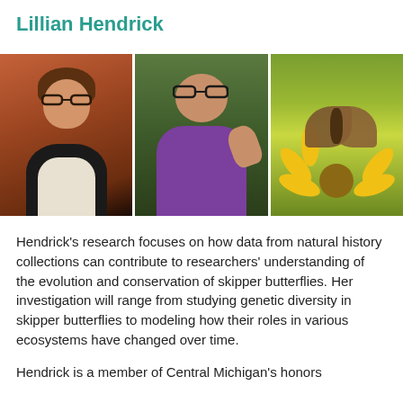Lillian Hendrick
[Figure (photo): Three photos: a professional portrait of Lillian Hendrick smiling in a black blazer against an orange-brown background; Lillian outdoors in a purple jacket looking at something on her hand; a close-up of a skipper butterfly on a yellow flower.]
Hendrick's research focuses on how data from natural history collections can contribute to researchers' understanding of the evolution and conservation of skipper butterflies. Her investigation will range from studying genetic diversity in skipper butterflies to modeling how their roles in various ecosystems have changed over time.
Hendrick is a member of Central Michigan's honors